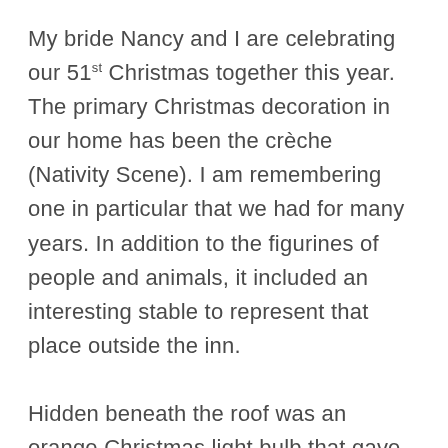My bride Nancy and I are celebrating our 51st Christmas together this year. The primary Christmas decoration in our home has been the crèche (Nativity Scene). I am remembering one in particular that we had for many years. In addition to the figurines of people and animals, it included an interesting stable to represent that place outside the inn.

Hidden beneath the roof was an orange Christmas light bulb that gave the manger a warm glow when illuminated. There was also a music box attached to the back of it that played “Silent Night.” The figurines were